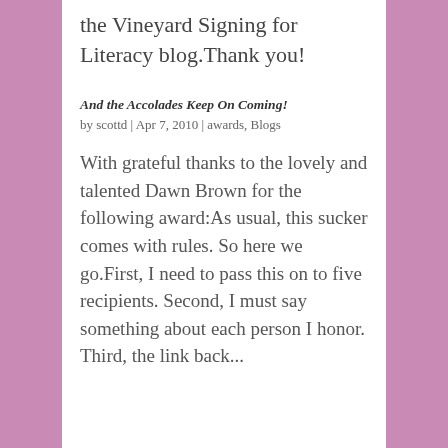the Vineyard Signing for Literacy blog.Thank you!
And the Accolades Keep On Coming!
by scottd | Apr 7, 2010 | awards, Blogs
With grateful thanks to the lovely and talented Dawn Brown for the following award:As usual, this sucker comes with rules. So here we go.First, I need to pass this on to five recipients. Second, I must say something about each person I honor. Third, the link back...